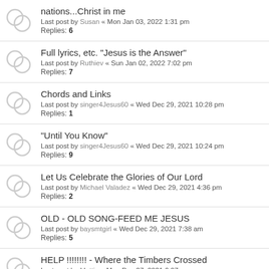nations...Christ in me
Last post by Susan « Mon Jan 03, 2022 1:31 pm
Replies: 6
Full lyrics, etc. "Jesus is the Answer"
Last post by Ruthiev « Sun Jan 02, 2022 7:02 pm
Replies: 7
Chords and Links
Last post by singer4Jesus60 « Wed Dec 29, 2021 10:28 pm
Replies: 1
"Until You Know"
Last post by singer4Jesus60 « Wed Dec 29, 2021 10:24 pm
Replies: 9
Let Us Celebrate the Glories of Our Lord
Last post by Michael Valadez « Wed Dec 29, 2021 4:36 pm
Replies: 2
OLD - OLD SONG-FEED ME JESUS
Last post by baysmtgirl « Wed Dec 29, 2021 7:38 am
Replies: 5
HELP !!!!!!!! - Where the Timbers Crossed
Last post by Mattie « Mon Dec 27, 2021 6:27 pm
Replies: 4
Lyrics to Just About Home
Last post by ...